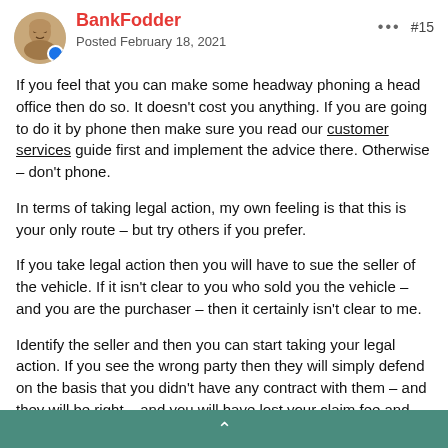BankFodder — Posted February 18, 2021 — #15
If you feel that you can make some headway phoning a head office then do so. It doesn't cost you anything. If you are going to do it by phone then make sure you read our customer services guide first and implement the advice there. Otherwise – don't phone.
In terms of taking legal action, my own feeling is that this is your only route – but try others if you prefer.
If you take legal action then you will have to sue the seller of the vehicle. If it isn't clear to you who sold you the vehicle – and you are the purchaser – then it certainly isn't clear to me.
Identify the seller and then you can start taking your legal action. If you see the wrong party then they will simply defend on the basis that you didn't have any contract with them – and they will be right – and you will have lost your claim fee and you will have to begin again.